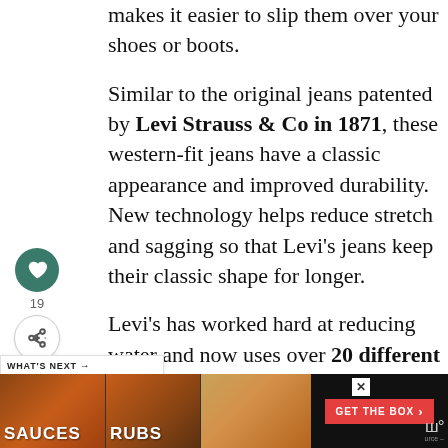makes it easier to slip them over your shoes or boots.
Similar to the original jeans patented by Levi Strauss & Co in 1871, these western-fit jeans have a classic appearance and improved durability. New technology helps reduce stretch and sagging so that Levi's jeans keep their classic shape for longer.
Levi's has worked hard at reducing water and now uses over 20 different innovative techniques to create the
[Figure (screenshot): Social sidebar with heart/like button (teal circle, heart icon), count of 19, and share button (circle with share icon)]
[Figure (infographic): WHAT'S NEXT banner with text '41+ Top Gifts for...' and circular thumbnail image of holiday/Christmas decoration]
[Figure (screenshot): Advertisement banner showing SAUCES, RUBS, burger food images with GET THE BOX CTA button, close X button, and logo]